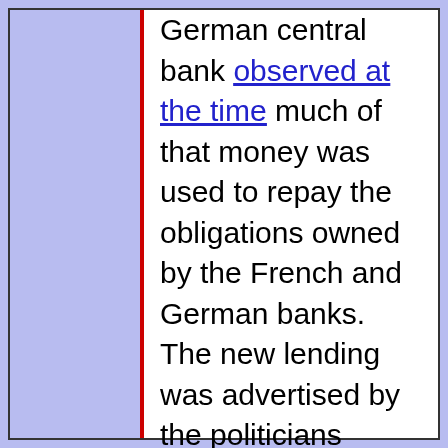German central bank observed at the time much of that money was used to repay the obligations owned by the French and German banks. The new lending was advertised by the politicians across Europe as a rescue for Greece. But it was at least as much a deal to buy time for the banks and other owners of Greek debt